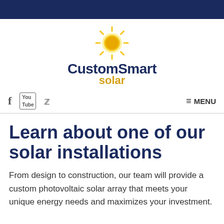[Figure (logo): CustomSmart Solar logo with yellow sun graphic above the company name]
f  [YouTube]  [Twitter]  ≡ MENU
Learn about one of our solar installations
From design to construction, our team will provide a custom photovoltaic solar array that meets your unique energy needs and maximizes your investment.